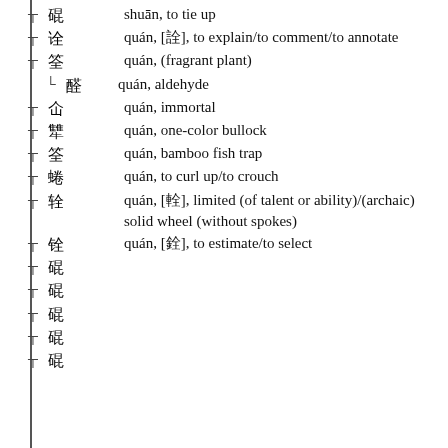┬ 㸂  shuān, to tie up
┬ 诠  quán, [詮], to explain/to comment/to annotate
┬ 筌  quán, (fragrant plant)
└ 醛    quán, aldehyde
┬ 仚  quán, immortal
┬ 犨  quán, one-color bullock
┬ 筌  quán, bamboo fish trap
┬ 蜷  quán, to curl up/to crouch
┬ 辁  quán, [輇], limited (of talent or ability)/(archaic) solid wheel (without spokes)
┬ 铨  quán, [銓], to estimate/to select
┬ 㸂
┬ 㸂
┬ 㸂
┬ 㸂
┬ 㸂